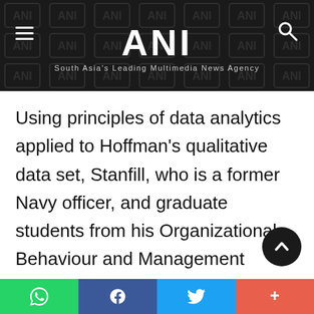ANI — South Asia's Leading Multimedia News Agency
Using principles of data analytics applied to Hoffman's qualitative data set, Stanfill, who is a former Navy officer, and graduate students from his Organizational Behaviour and Management course were able to help with Hoffman's research. An added benefit for the students was the hands-on learning experience in dealing with uncertainty and change in group projects as they select, plan and